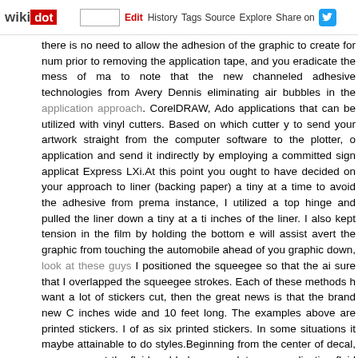wikidot | site | Edit | History | Tags | Source | Explore | Share on [Twitter]
there is no need to allow the adhesion of the graphic to create for num prior to removing the application tape, and you eradicate the mess of ma to note that the new channeled adhesive technologies from Avery Dennis eliminating air bubbles in the application approach. CorelDRAW, Ado applications that can be utilized with vinyl cutters. Based on which cutter y to send your artwork straight from the computer software to the plotter, o application and send it indirectly by employing a committed sign applicat Express LXi.At this point you ought to have decided on your approach to liner (backing paper) a tiny at a time to avoid the adhesive from prema instance, I utilized a top hinge and pulled the liner down a tiny at a ti inches of the liner. I also kept tension in the film by holding the bottom e will assist avert the graphic from touching the automobile ahead of you graphic down, look at these guys I positioned the squeegee so that the ai sure that I overlapped the squeegee strokes. Each of these methods h want a lot of stickers cut, then the great news is that the brand new C inches wide and 10 feet long. The examples above are printed stickers. I of as six printed stickers. In some situations it maybe attainable to do styles.Beginning from the center of decal, squeegee out the fluid and bub spray a lot more application fluid on best of the decal to make the squ Repeat this step numerous occasions unitl you have get rid of most of the as to be a single of the UK's go-to, and remains to be the cheapest onli custom stickers are made from higher-good quality paper or vinyl supplies results that our buyers deserve.A handy particular person with correct d Decals. When installing decals bigger than truck door- sized, it is sug particular person do the installation. Please maintain in mind that we determined to come from a defective lot of material. All other adhesion o to be the fault of improper conditions or other installer related error. We following painting a surface ahead of applying any decal, due to the fact d the paint will come off with it if the paint is not correctly cured before a